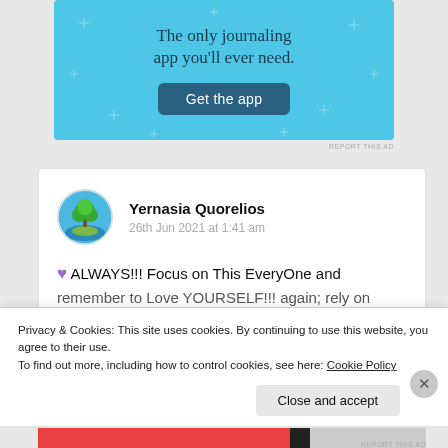[Figure (screenshot): Advertisement banner with light blue background, text 'The only journaling app you'll ever need.' and a dark blue 'Get the app' button]
REPORT THIS AD
Yernasia Quorelios
26th Jun 2021 at 1:41 am
💜 ALWAYS!!! Focus on This EveryOne and remember to Love YOURSELF!!! again; rely on
Privacy & Cookies: This site uses cookies. By continuing to use this website, you agree to their use.
To find out more, including how to control cookies, see here: Cookie Policy
Close and accept